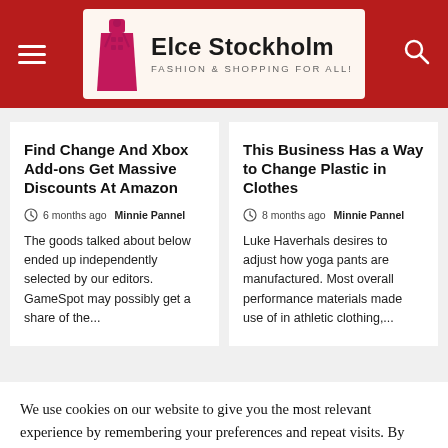Elce Stockholm — FASHION & SHOPPING FOR ALL!
Find Change And Xbox Add-ons Get Massive Discounts At Amazon
6 months ago  Minnie Pannel
The goods talked about below ended up independently selected by our editors. GameSpot may possibly get a share of the...
This Business Has a Way to Change Plastic in Clothes
8 months ago  Minnie Pannel
Luke Haverhals desires to adjust how yoga pants are manufactured. Most overall performance materials made use of in athletic clothing,...
We use cookies on our website to give you the most relevant experience by remembering your preferences and repeat visits. By clicking "Accept All", you consent to the use of ALL the cookies. However, you may visit "Cookie Settings" to